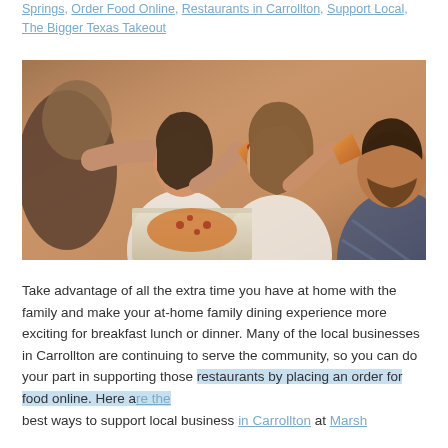Springs, Order Food Online, Restaurants in Carrollton, Support Local, The Bigger Texas Takeout
[Figure (photo): Group of young people sitting together sharing pizza from open pizza boxes, laughing and enjoying food]
Take advantage of all the extra time you have at home with the family and make your at-home family dining experience more exciting for breakfast lunch or dinner. Many of the local businesses in Carrollton are continuing to serve the community, so you can do your part in supporting those restaurants by placing an order for food online. Here are the best ways to support local business in Carrollton at Marsh